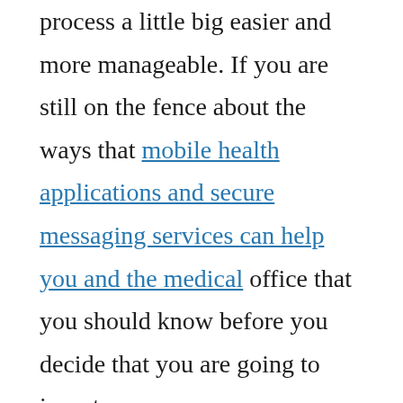process a little big easier and more manageable. If you are still on the fence about the ways that mobile health applications and secure messaging services can help you and the medical office that you should know before you decide that you are going to invest.
One of the most useful medical apps, Health 2.0, has been described recently as the use of software and mobile tools to promote collaboration and disseminate information